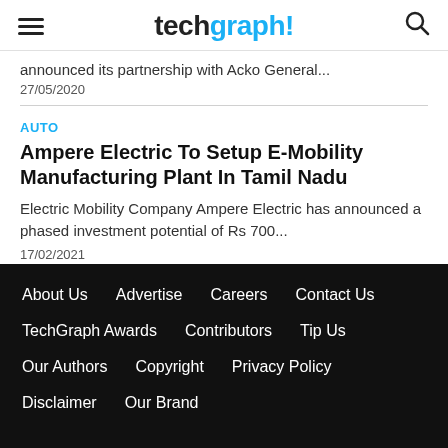techgraph!
announced its partnership with Acko General...
27/05/2020
AUTO
Ampere Electric To Setup E-Mobility Manufacturing Plant In Tamil Nadu
Electric Mobility Company Ampere Electric has announced a phased investment potential of Rs 700...
17/02/2021
About Us   Advertise   Careers   Contact Us   TechGraph Awards   Contributors   Tip Us   Our Authors   Copyright   Privacy Policy   Disclaimer   Our Brand